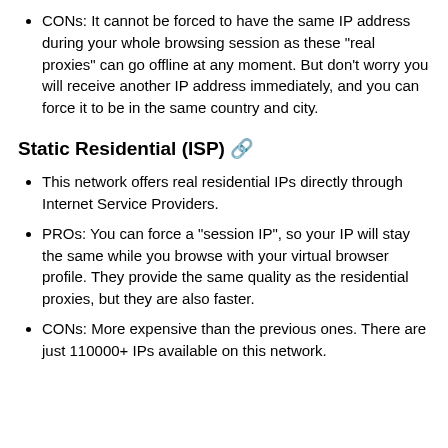CONs: It cannot be forced to have the same IP address during your whole browsing session as these "real proxies" can go offline at any moment. But don't worry you will receive another IP address immediately, and you can force it to be in the same country and city.
Static Residential (ISP) 🔗
This network offers real residential IPs directly through Internet Service Providers.
PROs: You can force a "session IP", so your IP will stay the same while you browse with your virtual browser profile. They provide the same quality as the residential proxies, but they are also faster.
CONs: More expensive than the previous ones. There are just 110000+ IPs available on this network.